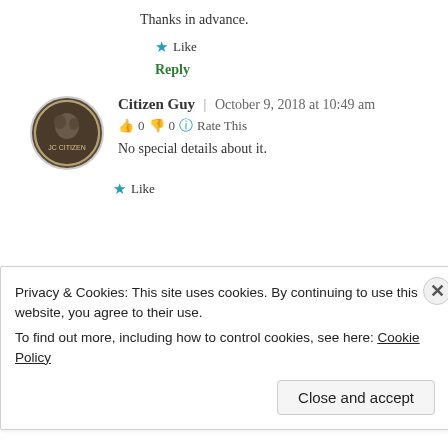Thanks in advance.
★ Like
Reply
[Figure (illustration): Round avatar/coin image for user Citizen Guy]
Citizen Guy | October 9, 2018 at 10:49 am
👍 0 👎 0 ℹ Rate This
No special details about it.
★ Like
Privacy & Cookies: This site uses cookies. By continuing to use this website, you agree to their use.
To find out more, including how to control cookies, see here: Cookie Policy
Close and accept